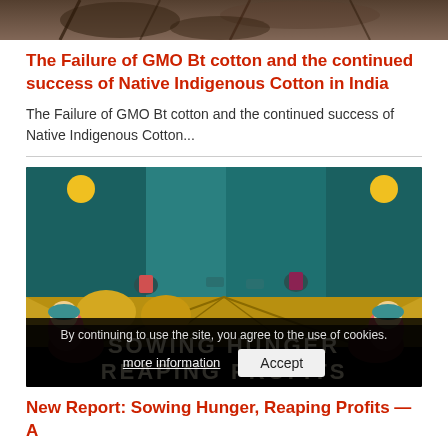[Figure (photo): Cropped top portion of a nature/plant photograph showing dark branches and foliage]
The Failure of GMO Bt cotton and the continued success of Native Indigenous Cotton in India
The Failure of GMO Bt cotton and the continued success of Native Indigenous Cotton...
[Figure (illustration): Colorful illustration of farmers working in fields with text overlay 'SOWING HUNGER REAPING PROFITS' and a cookie consent bar at the bottom reading 'By continuing to use the site, you agree to the use of cookies.' with 'more information' and 'Accept' buttons]
New Report: Sowing Hunger, Reaping Profits — A